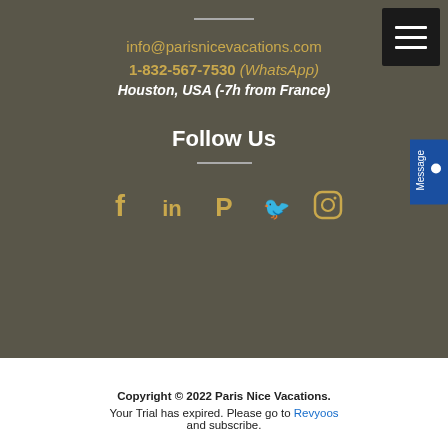info@parisnicevacations.com
1-832-567-7530 (WhatsApp)
Houston, USA (-7h from France)
Follow Us
[Figure (infographic): Social media icons: Facebook, LinkedIn, Pinterest, Twitter, Instagram]
Copyright © 2022 Paris Nice Vacations.
Your Trial has expired. Please go to Revyoos and subscribe.